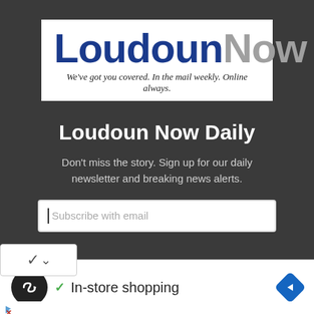[Figure (logo): LoudounNow logo with tagline: We've got you covered. In the mail weekly. Online always.]
Loudoun Now Daily
Don't miss the story. Sign up for our daily newsletter and breaking news alerts.
[Figure (screenshot): Email subscription input box with placeholder text 'Subscribe with email']
[Figure (screenshot): Chevron/dropdown icon button]
[Figure (infographic): In-store shopping listing with black circular icon, green checkmark, text 'In-store shopping', and blue navigation diamond icon on right]
Ad indicator with triangle and X icons